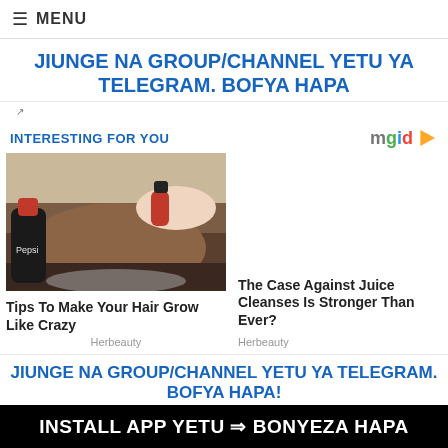≡ MENU
JIUNGE NA GROUP/CHANNEL YETU YA TELEGRAM. BOFYA HAPA
INTERESTING FOR YOU
[Figure (photo): Person pouring Pepsi or Coke on their hair over a bowl]
Tips To Make Your Hair Grow Like Crazy
Herbeauty
The Case Against Juice Cleanses Is Stronger Than Ever?
Herbeauty
JIUNGE NA GROUP/CHANNEL YETU YA TELEGRAM. BOFYA HAPA!
INSTALL APP YETU ⇒ BONYEZA HAPA